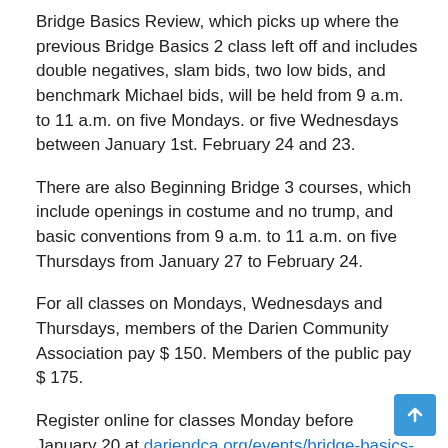Bridge Basics Review, which picks up where the previous Bridge Basics 2 class left off and includes double negatives, slam bids, two low bids, and benchmark Michael bids, will be held from 9 a.m. to 11 a.m. on five Mondays. or five Wednesdays between January 1st. February 24 and 23.
There are also Beginning Bridge 3 courses, which include openings in costume and no trump, and basic conventions from 9 a.m. to 11 a.m. on five Thursdays from January 27 to February 24.
For all classes on Mondays, Wednesdays and Thursdays, members of the Darien Community Association pay $ 150. Members of the public pay $ 175.
Register online for classes Monday before January 20 at dariendca.org/events/bridge-basics-review-mondays/ or contact the Darien Community Association at 203-655-9050 Ext. ten.